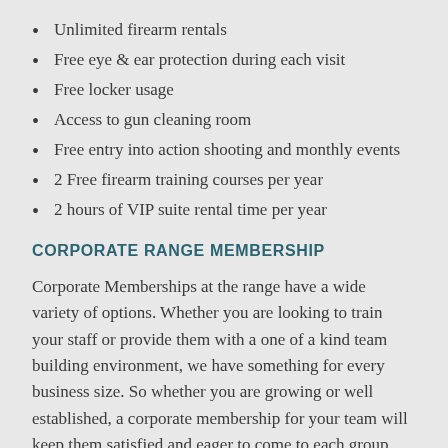Unlimited firearm rentals
Free eye & ear protection during each visit
Free locker usage
Access to gun cleaning room
Free entry into action shooting and monthly events
2 Free firearm training courses per year
2 hours of VIP suite rental time per year
CORPORATE RANGE MEMBERSHIP
Corporate Memberships at the range have a wide variety of options. Whether you are looking to train your staff or provide them with a one of a kind team building environment, we have something for every business size. So whether you are growing or well established, a corporate membership for your team will keep them satisfied and eager to come to each group outing.